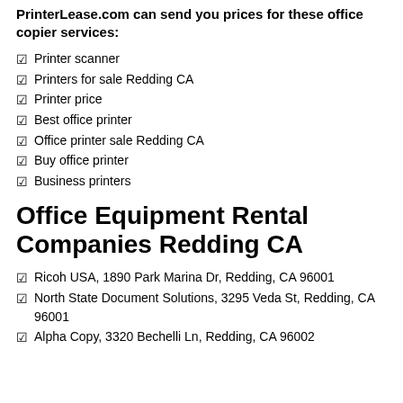PrinterLease.com can send you prices for these office copier services:
Printer scanner
Printers for sale Redding CA
Printer price
Best office printer
Office printer sale Redding CA
Buy office printer
Business printers
Office Equipment Rental Companies Redding CA
Ricoh USA, 1890 Park Marina Dr, Redding, CA 96001
North State Document Solutions, 3295 Veda St, Redding, CA 96001
Alpha Copy, 3320 Bechelli Ln, Redding, CA 96002